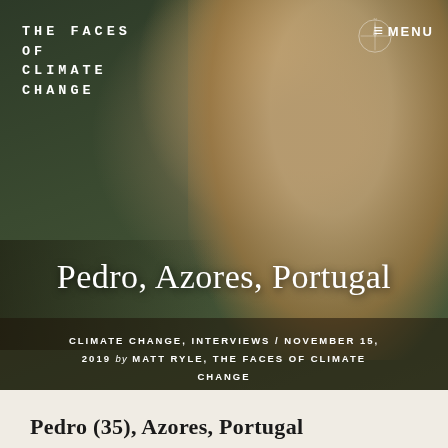THE FACES OF CLIMATE CHANGE
≡ MENU
Pedro, Azores, Portugal
CLIMATE CHANGE, INTERVIEWS / NOVEMBER 15, 2019 by MATT RYLE, THE FACES OF CLIMATE CHANGE
[Figure (photo): A man smiling and gesturing in front of a wall map, standing behind a table with various items including books and equipment. Website hero image for 'The Faces of Climate Change'.]
Pedro (35), Azores, Portugal